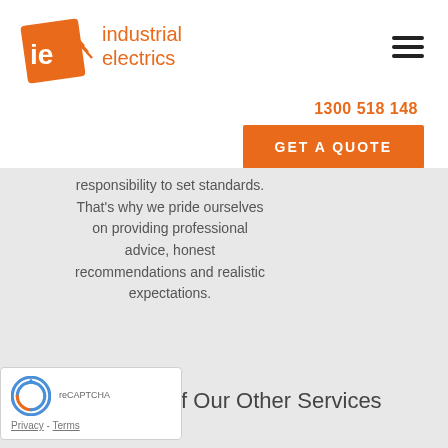[Figure (logo): Industrial Electrics logo: orange 'ie' icon with lightning bolt effect and orange text 'industrial electrics']
[Figure (other): Hamburger menu icon (three horizontal lines)]
1300 518 148
GET A QUOTE
responsibility to set standards. That's why we pride ourselves on providing professional advice, honest recommendations and realistic expectations.
Of Our Other Services
[Figure (logo): Google reCAPTCHA badge with logo, Privacy and Terms links]